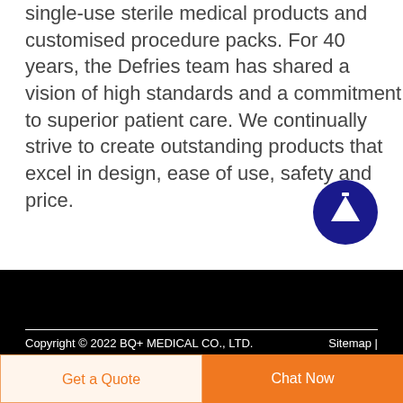single-use sterile medical products and customised procedure packs. For 40 years, the Defries team has shared a vision of high standards and a commitment to superior patient care. We continually strive to create outstanding products that excel in design, ease of use, safety and price.
[Figure (illustration): Dark blue circular button with upward arrow icon for scrolling to top]
Copyright © 2022 BQ+ MEDICAL CO., LTD.    Sitemap |
Get a Quote
Chat Now